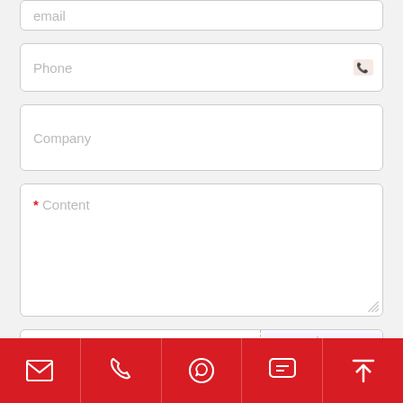[Figure (screenshot): Contact form with Phone, Company, Content, Captcha fields and a submit button labeled PRZEŚLIJ, with a red bottom navigation bar containing icons for email, phone, WhatsApp, chat, and upload.]